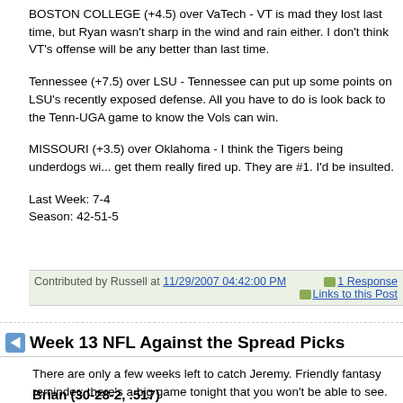BOSTON COLLEGE (+4.5) over VaTech - VT is mad they lost last time, but Ryan wasn't sharp in the wind and rain either. I don't think VT's offense will be any better than last time.
Tennessee (+7.5) over LSU - Tennessee can put up some points on LSU's recently exposed defense. All you have to do is look back to the Tenn-UGA game to know the Vols can win.
MISSOURI (+3.5) over Oklahoma - I think the Tigers being underdogs will get them really fired up. They are #1. I'd be insulted.
Last Week: 7-4
Season: 42-51-5
Contributed by Russell at 11/29/2007 04:42:00 PM     1 Response     Links to this Post
Week 13 NFL Against the Spread Picks
There are only a few weeks left to catch Jeremy. Friendly fantasy reminder: there's a big game tonight that you won't be able to see.
Brian (30-28-2, .517)